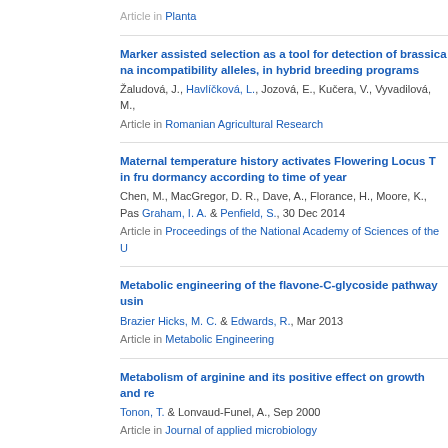Article in Planta
Marker assisted selection as a tool for detection of brassica na incompatibility alleles, in hybrid breeding programs
Žaludová, J., Havlíčková, L., Jozová, E., Kučera, V., Vyvadilová, M.,
Article in Romanian Agricultural Research
Maternal temperature history activates Flowering Locus T in fru dormancy according to time of year
Chen, M., MacGregor, D. R., Dave, A., Florance, H., Moore, K., Pas Graham, I. A. & Penfield, S., 30 Dec 2014
Article in Proceedings of the National Academy of Sciences of the U
Metabolic engineering of the flavone-C-glycoside pathway usin
Brazier Hicks, M. C. & Edwards, R., Mar 2013
Article in Metabolic Engineering
Metabolism of arginine and its positive effect on growth and re
Tonon, T. & Lonvaud-Funel, A., Sep 2000
Article in Journal of applied microbiology
Metabolism of the folate precursor p-aminobenzoate in plants - vacuolar storage
Eudes, A., Bozzo, G. G., Waller, J. C., Naponelli, V., Lim, E-K., Bowl Hanson, A. D., 30 May 2008
Article in Journal of Biological Chemistry